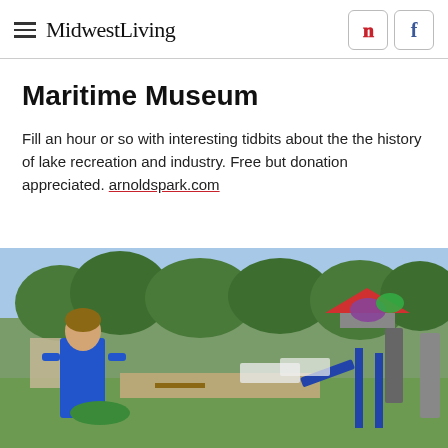MidwestLiving
Maritime Museum
Fill an hour or so with interesting tidbits about the the history of lake recreation and industry. Free but donation appreciated. arnoldspark.com
[Figure (photo): A boy in a blue shirt playing mini golf at an outdoor course with playground structures, green trees, and park facilities in the background.]